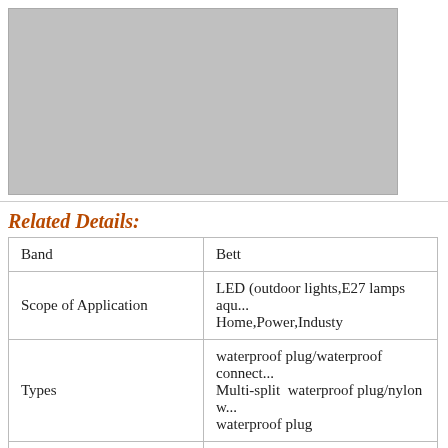[Figure (photo): Product image placeholder (gray rectangle)]
Related Details:
|  |  |
| --- | --- |
| Band | Bett |
| Scope of Application | LED (outdoor lights,E27 lamps aqu... Home,Power,Industy |
| Types | waterproof plug/waterproof connect... Multi-split waterproof plug/nylon w... waterproof plug |
| Interface Type | AC/DC |
| Process | stamping/welding/injection molding... |
| Joint material | PVC/PBT/PA66/PC+ABS... |